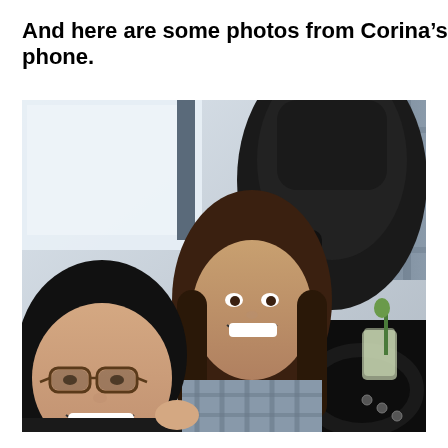And here are some photos from Corina's phone.
[Figure (photo): Selfie photo taken inside a car showing two smiling young women in the foreground. One woman wears glasses and has dark hair, the other has long brown hair. A baby/child car seat is visible in the back seat, and a person in a plaid shirt is seen in the upper right. One woman is holding what appears to be a wrapped flower or small plant.]